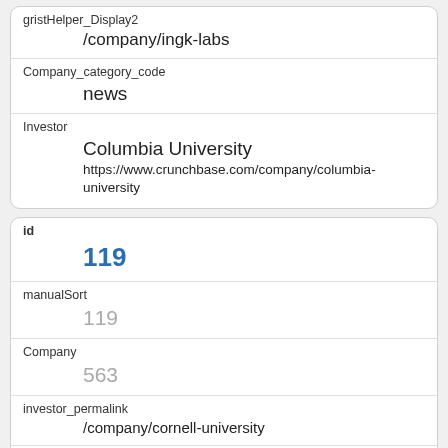gristHelper_Display2
/company/ingk-labs
Company_category_code
news
Investor
Columbia University
https://www.crunchbase.com/company/columbia-university
id
119
manualSort
119
Company
563
investor_permalink
/company/cornell-university
investor_name
Cornell University
investor_category_code